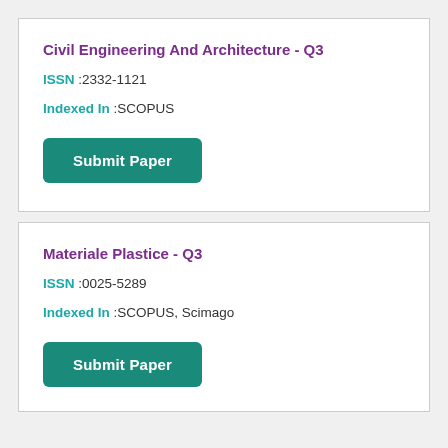Civil Engineering And Architecture - Q3
ISSN :2332-1121
Indexed In :SCOPUS
Submit Paper
Materiale Plastice - Q3
ISSN :0025-5289
Indexed In :SCOPUS, Scimago
Submit Paper